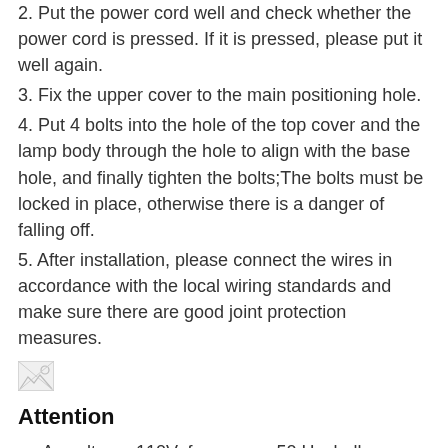2. Put the power cord well and check whether the power cord is pressed. If it is pressed, please put it well again.
3. Fix the upper cover to the main positioning hole.
4. Put 4 bolts into the hole of the top cover and the lamp body through the hole to align with the base hole, and finally tighten the bolts;The bolts must be locked in place, otherwise there is a danger of falling off.
5. After installation, please connect the wires in accordance with the local wiring standards and make sure there are good joint protection measures.
[Figure (photo): Broken/missing image placeholder]
Attention
Ac voltage: 110V; frequency: 50 Hz, bulb power≤40W.
Please ware gloves.
Can't fixed to the ceiling not dry. No water washing. Wipe